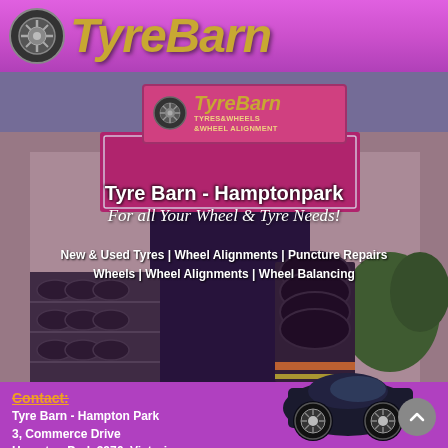[Figure (logo): TyreBarn logo with tire icon and gold italic bold text on purple/pink header background]
[Figure (photo): TyreBarn shop front with pink signage showing TyreBarn brand, tyres and wheels on display, car parked outside]
Tyre Barn - Hamptonpark
For all Your Wheel & Tyre Needs!
New & Used Tyres | Wheel Alignments | Puncture Repairs
Wheels | Wheel Alignments | Wheel Balancing
Contact:
Tyre Barn - Hampton Park
3, Commerce Drive
Hampton Park 3976, Victoria
Tel: 03 9799 6696
Email: tyrebarn@hotmail.com